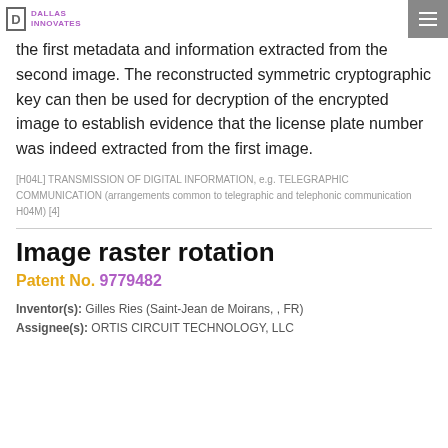DALLAS INNOVATES
the first metadata and information extracted from the second image. The reconstructed symmetric cryptographic key can then be used for decryption of the encrypted image to establish evidence that the license plate number was indeed extracted from the first image.
[H04L] TRANSMISSION OF DIGITAL INFORMATION, e.g. TELEGRAPHIC COMMUNICATION (arrangements common to telegraphic and telephonic communication H04M) [4]
Image raster rotation
Patent No. 9779482
Inventor(s): Gilles Ries (Saint-Jean de Moirans, , FR)
Assignee(s): ORTIS CIRCUIT TECHNOLOGY, LLC